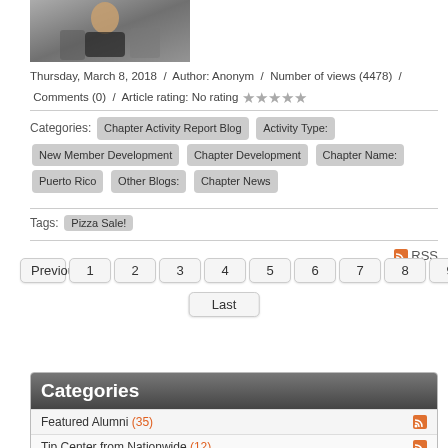[Figure (photo): A photo of a woman seated outdoors with others in the background]
Thursday, March 8, 2018  /  Author: Anonym  /  Number of views (4478)  /  Comments (0)  /  Article rating: No rating ★★★★★
Categories: Chapter Activity Report Blog  Activity Type:  New Member Development  Chapter Development  Chapter Name:  Puerto Rico  Other Blogs:  Chapter News
Tags: Pizza Sale!
RSS
Previous 1 2 3 4 5 6 7 8 9 10 Next
Last
Categories
Featured Alumni (35)
Tip Center from Nationwide (12)